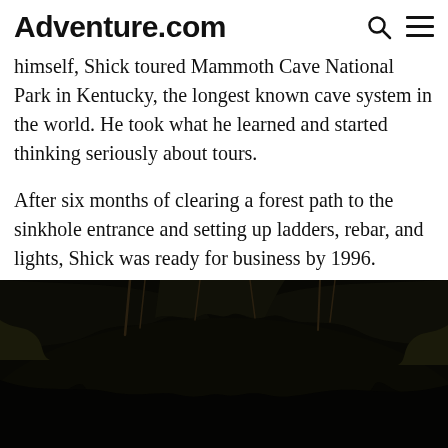Adventure.com
himself, Shick toured Mammoth Cave National Park in Kentucky, the longest known cave system in the world. He took what he learned and started thinking seriously about tours.
After six months of clearing a forest path to the sinkhole entrance and setting up ladders, rebar, and lights, Shick was ready for business by 1996.
[Figure (photo): Dark cave interior photograph showing a large cave entrance or chamber with rocky walls, roots, and a bright green/yellow light visible in the background suggesting foliage outside or daylight filtering in.]